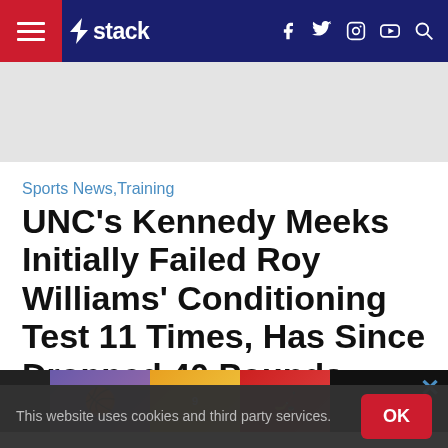stack — navigation bar with hamburger menu, logo, social icons (f, twitter, instagram, youtube) and search
[Figure (other): Gray advertisement banner area]
Sports News,Training
UNC's Kennedy Meeks Initially Failed Roy Williams' Conditioning Test 11 Times, Has Since Dropped 40 Pounds
By Jordan Zirm   Published On: 2017-04-05
[Figure (other): Advertisement image strip with sports images and Close Ad button]
This website uses cookies and third party services.
OK